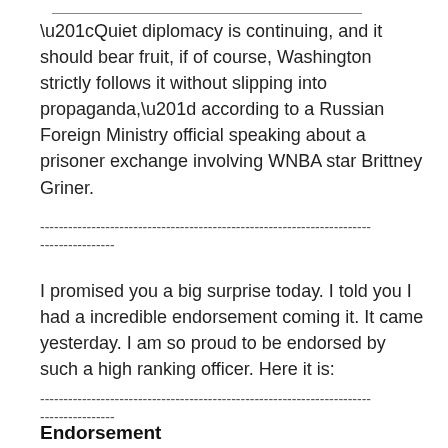“Quiet diplomacy is continuing, and it should bear fruit, if of course, Washington strictly follows it without slipping into propaganda,” according to a Russian Foreign Ministry official speaking about a prisoner exchange involving WNBA star Brittney Griner.
-----------------------------------------------------------------------
----------------
I promised you a big surprise today. I told you I had a incredible endorsement coming it. It came yesterday. I am so proud to be endorsed by such a high ranking officer. Here it is:
-----------------------------------------------------------------------
----------------
Endorsement